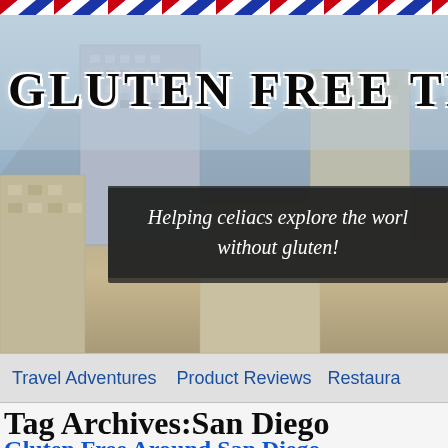[Figure (screenshot): Airmail diagonal stripe border at the top of the page in red, white, and blue]
[Figure (photo): Hero banner showing city skyline (urban buildings) with a blue-gray sky and mountains in background]
GLUTEN FREE TRAVE
Helping celiacs explore the world without gluten!
Travel Adventures   Product Reviews   Restaura
Tag Archives:San Diego
Gluten Free Around San Diego